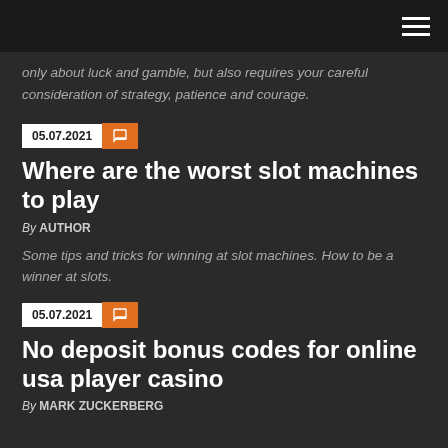only about luck and gamble, but also requires your careful consideration of strategy, patience and courage.
05.07.2021
Where are the worst slot machines to play
By AUTHOR
Some tips and tricks for winning at slot machines. How to be a winner at slots.
05.07.2021
No deposit bonus codes for online usa player casino
By MARK ZUCKERBERG